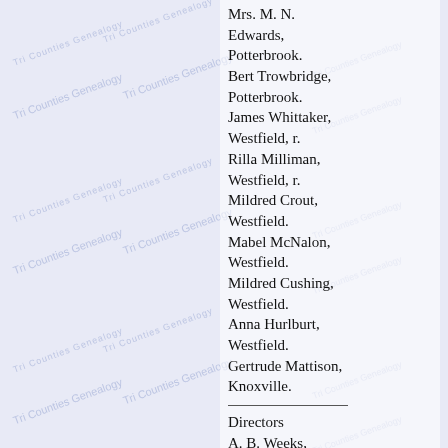Mrs. M. N. Edwards, Potterbrook.
Bert Trowbridge, Potterbrook.
James Whittaker, Westfield, r.
Rilla Milliman, Westfield, r.
Mildred Crout, Westfield.
Mabel McNalon, Westfield.
Mildred Cushing, Westfield.
Anna Hurlburt, Westfield.
Gertrude Mattison, Knoxville.
Directors
A. B. Weeks, Potterbrook.
F. C. Briggs, Westfield, r. 5.